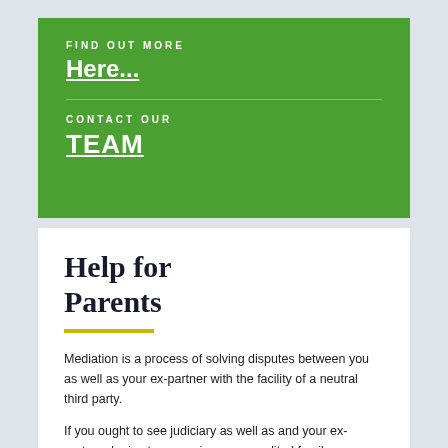FIND OUT MORE
Here...
CONTACT OUR
TEAM
Help for Parents
Mediation is a process of solving disputes between you as well as your ex-partner with the facility of a neutral third party.
If you ought to see judiciary as well as and your ex-partner denies to recognize an accredited family mediator, feel free to contact us and explain the scene. You cannot stimulate